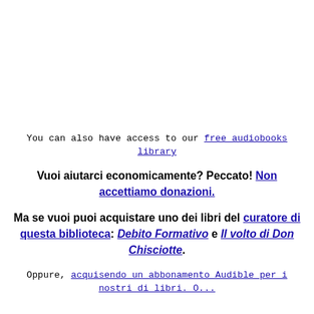You can also have access to our free audiobooks library
Vuoi aiutarci economicamente? Peccato! Non accettiamo donazioni.
Ma se vuoi puoi acquistare uno dei libri del curatore di questa biblioteca: Debito Formativo e Il volto di Don Chisciotte.
Oppure, acquisendo un abbonamento Audible per i nostri di libri. O...